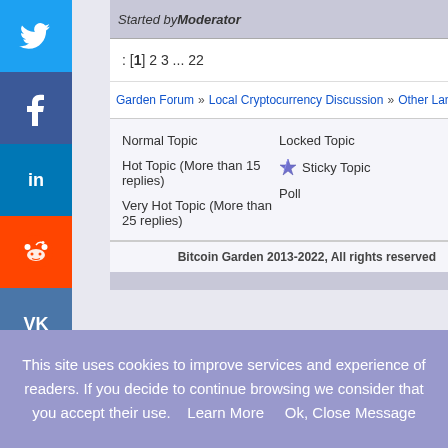Started by Moderator
: [1] 2 3 ... 22
Garden Forum » Local Cryptocurrency Discussion » Other Languages » Bengali
Normal Topic
Hot Topic (More than 15 replies)
Very Hot Topic (More than 25 replies)
Locked Topic
Sticky Topic
Poll
Bitcoin Garden 2013-2022, All rights reserved
SMF 2.0.15 | SMF © 2017, Simple
This site uses cookies to improve services and experience of readers. If you decide to continue browsing we consider that you accept their use.    Learn More      Ok, Close Message